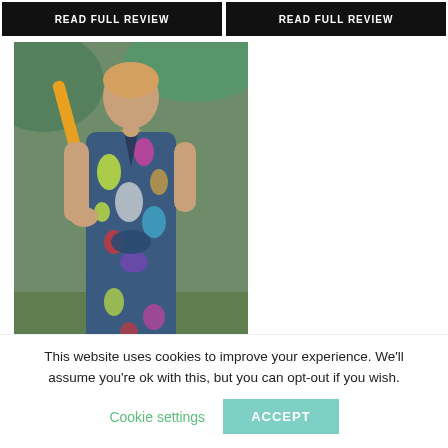READ FULL REVIEW
READ FULL REVIEW
[Figure (photo): Woman wearing a colorful floral/abstract print wrap dress or jumpsuit, holding a yellow umbrella handle, photographed outdoors with greenery in background]
This website uses cookies to improve your experience. We'll assume you're ok with this, but you can opt-out if you wish.
Cookie settings
ACCEPT